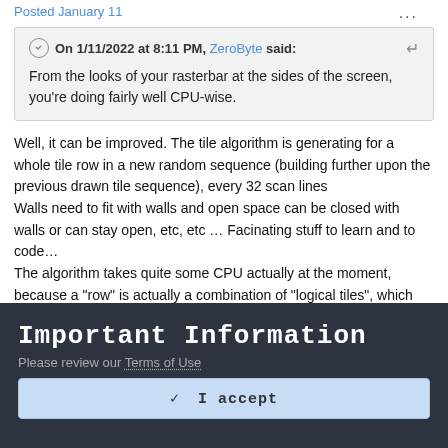Posted January 11
On 1/11/2022 at 8:11 PM, ZeroByte said: From the looks of your rasterbar at the sides of the screen, you're doing fairly well CPU-wise.
Well, it can be improved. The tile algorithm is generating for a whole tile row in a new random sequence (building further upon the previous drawn tile sequence), every 32 scan lines
Walls need to fit with walls and open space can be closed with walls or can stay open, etc, etc … Facinating stuff to learn and to code…
The algorithm takes quite some CPU actually at the moment, because a "row" is actually a combination of "logical tiles", which are a combination of 4 * 4 * 4 vera tiles.
Important Information
Please review our Terms of Use
✓  I accept